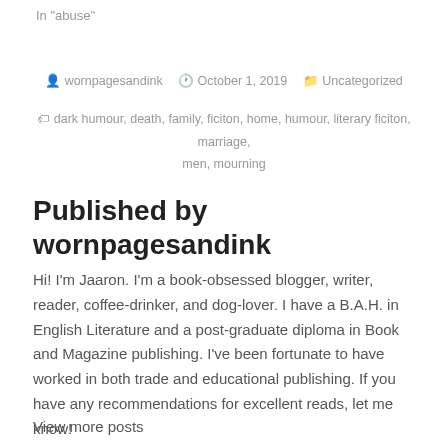In "abuse"
wornpagesandink   October 1, 2019   Uncategorized
dark humour, death, family, ficiton, home, humour, literary ficiton, marriage, men, mourning
Published by wornpagesandink
Hi! I'm Jaaron. I'm a book-obsessed blogger, writer, reader, coffee-drinker, and dog-lover. I have a B.A.H. in English Literature and a post-graduate diploma in Book and Magazine publishing. I've been fortunate to have worked in both trade and educational publishing. If you have any recommendations for excellent reads, let me know!
View more posts